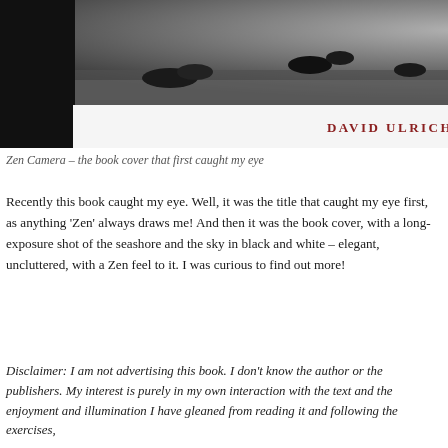[Figure (photo): Book cover of Zen Camera by David Ulrich. A long-exposure black and white photograph of a seashore with rocks and a misty sky. The author name 'DAVID ULRICH' appears in dark red uppercase text on a white band across the lower portion of the cover.]
Zen Camera – the book cover that first caught my eye
Recently this book caught my eye. Well, it was the title that caught my eye first, as anything 'Zen' always draws me! And then it was the book cover, with a long-exposure shot of the seashore and the sky in black and white – elegant, uncluttered, with a Zen feel to it. I was curious to find out more!
Disclaimer: I am not advertising this book. I don't know the author or the publishers. My interest is purely in my own interaction with the text and the enjoyment and illumination I have gleaned from reading it and following the exercises,